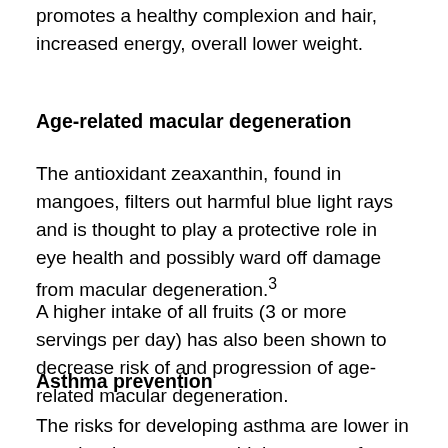promotes a healthy complexion and hair, increased energy, overall lower weight.
Age-related macular degeneration
The antioxidant zeaxanthin, found in mangoes, filters out harmful blue light rays and is thought to play a protective role in eye health and possibly ward off damage from macular degeneration.³
A higher intake of all fruits (3 or more servings per day) has also been shown to decrease risk of and progression of age-related macular degeneration.
Asthma prevention
The risks for developing asthma are lower in people who consume a high amount of certain nutrients. One of these nutrients is beta-carotene, found in mangoes, papaya